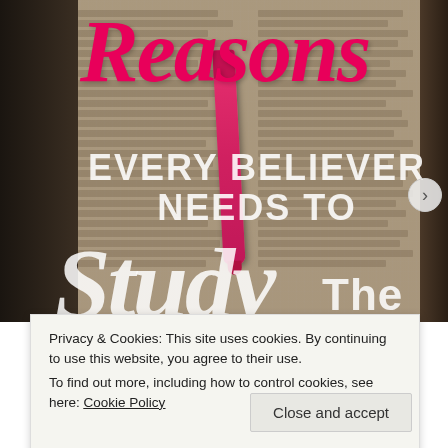[Figure (photo): Background photo of an open Bible with text columns, a pink/red marker pen resting on the pages, held by hands. Overlaid with stylized title text: 'Reasons EVERY BELIEVER NEEDS TO Study The' in pink script, white bold uppercase, and white italic script.]
Privacy & Cookies: This site uses cookies. By continuing to use this website, you agree to their use.
To find out more, including how to control cookies, see here: Cookie Policy
Close and accept